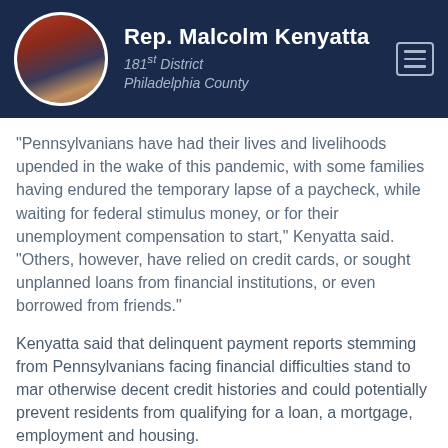Rep. Malcolm Kenyatta, 181st District, Philadelphia County
“Pennsylvanians have had their lives and livelihoods upended in the wake of this pandemic, with some families having endured the temporary lapse of a paycheck, while waiting for federal stimulus money, or for their unemployment compensation to start,” Kenyatta said. “Others, however, have relied on credit cards, or sought unplanned loans from financial institutions, or even borrowed from friends.”
Kenyatta said that delinquent payment reports stemming from Pennsylvanians facing financial difficulties stand to mar otherwise decent credit histories and could potentially prevent residents from qualifying for a loan, a mortgage, employment and housing.
“My bill would save countless families from this slippery slope of financial ruin and devastation,” he said. “As this economic fallout unfolds, we as lawmakers must do all we can to ensure that those struggling to rebuild their lives